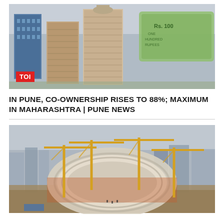[Figure (photo): Aerial rendering/photo of city buildings with a Rs. 100 Indian currency note visible in the background, with a TOI (Times of India) red badge logo in the lower left corner.]
IN PUNE, CO-OWNERSHIP RISES TO 88%; MAXIMUM IN MAHARASHTRA | PUNE NEWS
[Figure (photo): Aerial photo of a large stadium under construction with multiple yellow tower cranes surrounding it, with city buildings visible in the background.]